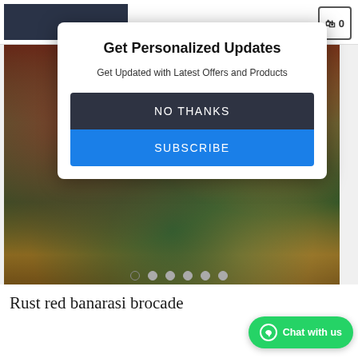[Figure (photo): Woman wearing a rust red banarasi brocade blouse with green saree, detailed embroidery visible]
Get Personalized Updates
Get Updated with Latest Offers and Products
NO THANKS
SUBSCRIBE
Rust red banarasi brocade
[Figure (other): WhatsApp Chat with us button]